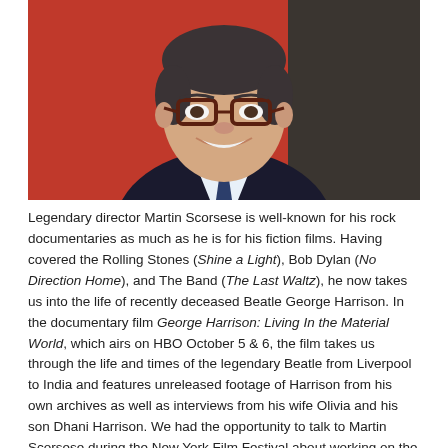[Figure (photo): Portrait photo of Martin Scorsese smiling, wearing glasses with dark red frames, a dark suit and navy tie, against a red background]
Legendary director Martin Scorsese is well-known for his rock documentaries as much as he is for his fiction films. Having covered the Rolling Stones (Shine a Light), Bob Dylan (No Direction Home), and The Band (The Last Waltz), he now takes us into the life of recently deceased Beatle George Harrison. In the documentary film George Harrison: Living In the Material World, which airs on HBO October 5 & 6, the film takes us through the life and times of the legendary Beatle from Liverpool to India and features unreleased footage of Harrison from his own archives as well as interviews from his wife Olivia and his son Dhani Harrison. We had the opportunity to talk to Martin Scorsese during the New York Film Festival about working on the project.